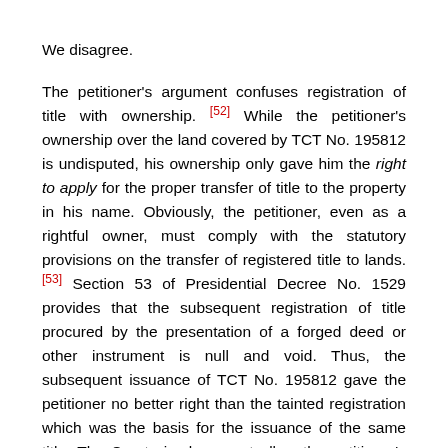We disagree.
The petitioner's argument confuses registration of title with ownership. [52] While the petitioner's ownership over the land covered by TCT No. 195812 is undisputed, his ownership only gave him the right to apply for the proper transfer of title to the property in his name. Obviously, the petitioner, even as a rightful owner, must comply with the statutory provisions on the transfer of registered title to lands. [53] Section 53 of Presidential Decree No. 1529 provides that the subsequent registration of title procured by the presentation of a forged deed or other instrument is null and void. Thus, the subsequent issuance of TCT No. 195812 gave the petitioner no better right than the tainted registration which was the basis for the issuance of the same title. The Court simply cannot allow the petitioner's attempt to get around the